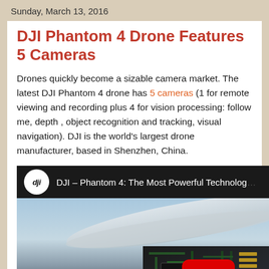Sunday, March 13, 2016
DJI Phantom 4 Drone Features 5 Cameras
Drones quickly become a sizable camera market. The latest DJI Phantom 4 drone has 5 cameras (1 for remote viewing and recording plus 4 for vision processing: follow me, depth , object recognition and tracking, visual navigation). DJI is the world's largest drone manufacturer, based in Shenzhen, China.
[Figure (screenshot): YouTube video embed showing DJI Phantom 4 promotional video titled 'DJI – Phantom 4: The Most Powerful Technolog...' with DJI logo, dark title bar, and drone/circuit board thumbnail with YouTube play button]